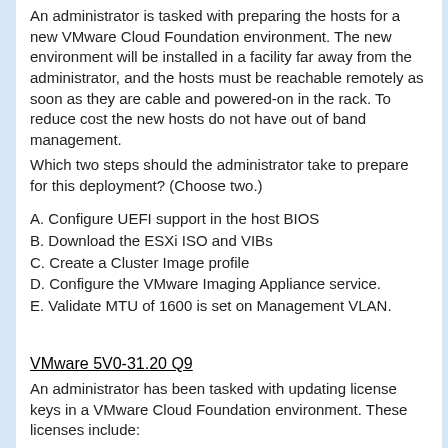An administrator is tasked with preparing the hosts for a new VMware Cloud Foundation environment. The new environment will be installed in a facility far away from the administrator, and the hosts must be reachable remotely as soon as they are cable and powered-on in the rack. To reduce cost the new hosts do not have out of band management.
Which two steps should the administrator take to prepare for this deployment? (Choose two.)
A. Configure UEFI support in the host BIOS
B. Download the ESXi ISO and VIBs
C. Create a Cluster Image profile
D. Configure the VMware Imaging Appliance service.
E. Validate MTU of 1600 is set on Management VLAN.
VMware 5V0-31.20 Q9
An administrator has been tasked with updating license keys in a VMware Cloud Foundation environment. These licenses include: